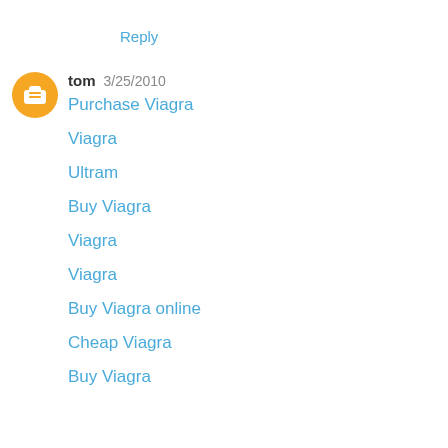Reply
tom  3/25/2010
Purchase Viagra
Viagra
Ultram
Buy Viagra
Viagra
Viagra
Buy Viagra online
Cheap Viagra
Buy Viagra